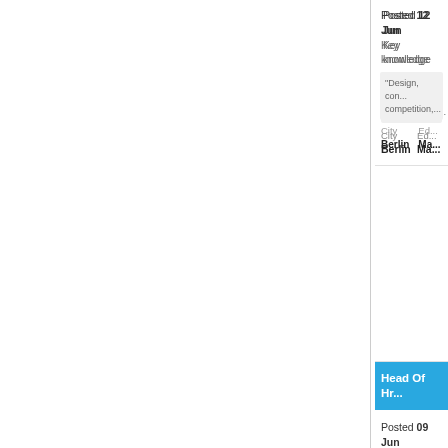Posted 12 Jun
Key knowledge
"Design, con... competition,...
| City | Ed... |
| --- | --- |
| Berlin | Ma... |
Head Of Hr...
Posted 09 Jun
Key knowledge
"Overview an...